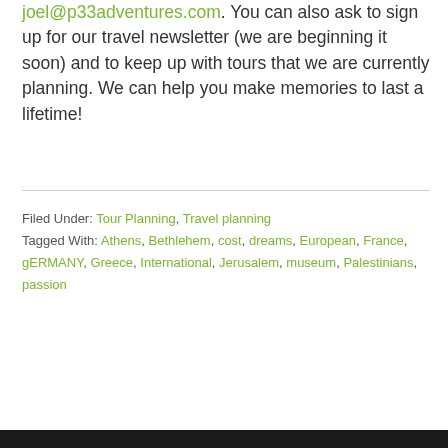joel@p33adventures.com. You can also ask to sign up for our travel newsletter (we are beginning it soon) and to keep up with tours that we are currently planning. We can help you make memories to last a lifetime!
Filed Under: Tour Planning, Travel planning Tagged With: Athens, Bethlehem, cost, dreams, European, France, gERMANY, Greece, International, Jerusalem, museum, Palestinians, passion